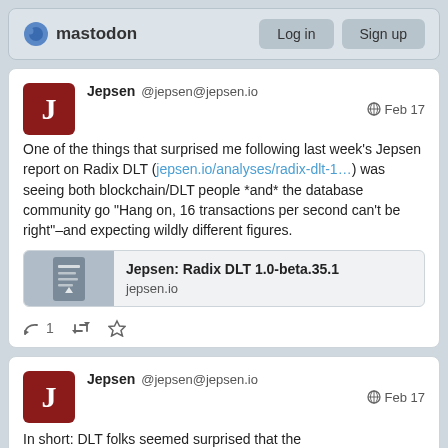mastodon  Log in  Sign up
Jepsen @jepsen@jepsen.io  Feb 17
One of the things that surprised me following last week's Jepsen report on Radix DLT ( jepsen.io/analyses/radix-dlt-1...) was seeing both blockchain/DLT people *and* the database community go "Hang on, 16 transactions per second can't be right"–and expecting wildly different figures.
[Figure (screenshot): Link preview card for 'Jepsen: Radix DLT 1.0-beta.35.1' from jepsen.io with document icon thumbnail]
↩ 1  🔁  ★
Jepsen @jepsen@jepsen.io  Feb 17
In short: DLT folks seemed surprised that the